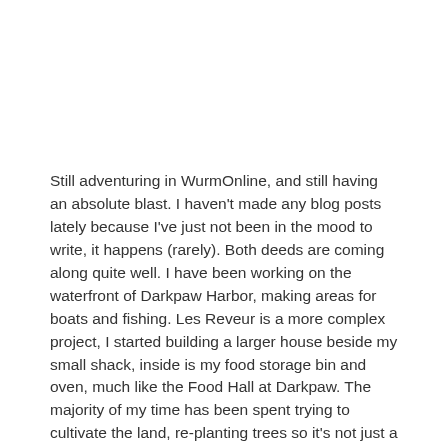Still adventuring in WurmOnline, and still having an absolute blast. I haven't made any blog posts lately because I've just not been in the mood to write, it happens (rarely). Both deeds are coming along quite well. I have been working on the waterfront of Darkpaw Harbor, making areas for boats and fishing. Les Reveur is a more complex project, I started building a larger house beside my small shack, inside is my food storage bin and oven, much like the Food Hall at Darkpaw. The majority of my time has been spent trying to cultivate the land, re-planting trees so it's not just a barren area of sand and dirt. I've planted over 30 sprouts so far, with room for many more. I'm excited to post before and after pictures once the trees grow a